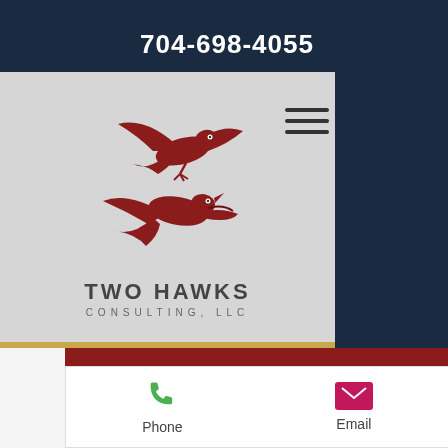704-698-4055
[Figure (logo): Two Hawks Consulting, LLC logo with two red hawks and company name on grey background]
Post
All Posts
Phone
Email